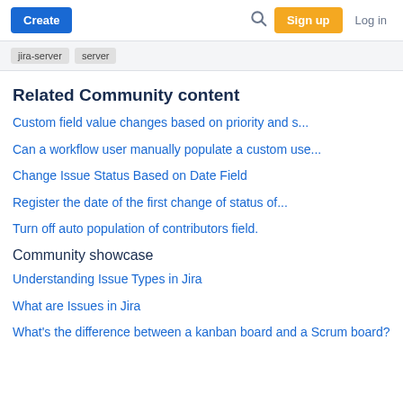Create | Search | Sign up | Log in
jira-server  server
Related Community content
Custom field value changes based on priority and s...
Can a workflow user manually populate a custom use...
Change Issue Status Based on Date Field
Register the date of the first change of status of...
Turn off auto population of contributors field.
Community showcase
Understanding Issue Types in Jira
What are Issues in Jira
What's the difference between a kanban board and a Scrum board?